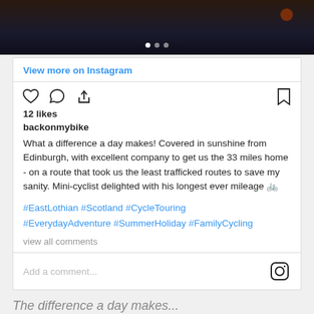[Figure (photo): Dark Instagram image at top with carousel dot indicators]
View more on Instagram
12 likes
backonmybike
What a difference a day makes! Covered in sunshine from Edinburgh, with excellent company to get us the 33 miles home - on a route that took us the least trafficked routes to save my sanity. Mini-cyclist delighted with his longest ever mileage 🚲
#EastLothian #Scotland #CycleTouring #EverydayAdventure #SummerHoliday #FamilyCycling
view all comments
Add a comment...
The difference a day makes...